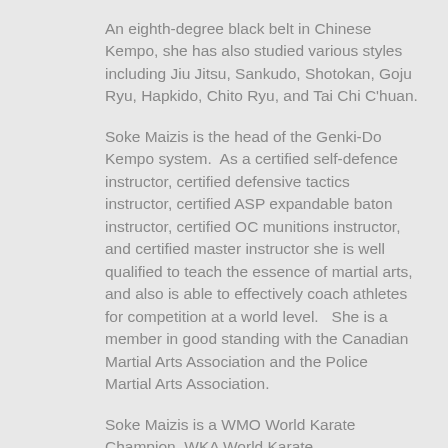An eighth-degree black belt in Chinese Kempo, she has also studied various styles including Jiu Jitsu, Sankudo, Shotokan, Goju Ryu, Hapkido, Chito Ryu, and Tai Chi C'huan.
Soke Maizis is the head of the Genki-Do Kempo system.  As a certified self-defence instructor, certified defensive tactics instructor, certified ASP expandable baton instructor, certified OC munitions instructor, and certified master instructor she is well qualified to teach the essence of martial arts, and also is able to effectively coach athletes for competition at a world level.   She is a member in good standing with the Canadian Martial Arts Association and the Police Martial Arts Association.
Soke Maizis is a WMO World Karate Champion, WKA World Karate